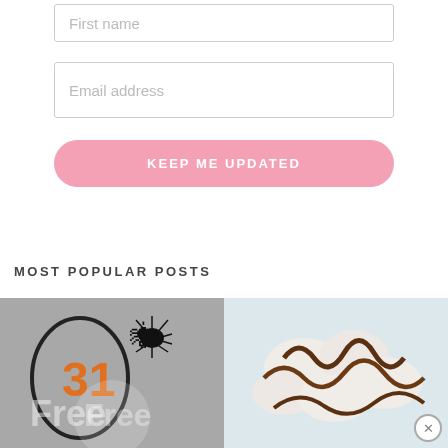First name
Email address
KEEP ME UPDATED
MOST POPULAR POSTS
[Figure (photo): Halloween themed graphic with number 31 in orange and a spider, text 'Free']
[Figure (photo): Chocolate dipped marshmallows or similar chocolate treat on light background]